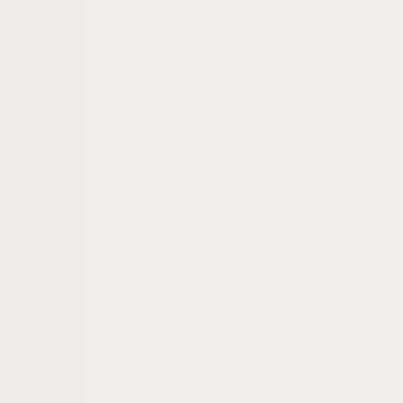res are very close to the triple point of CO2 (217 K). This means that with intercooling, very little mechani